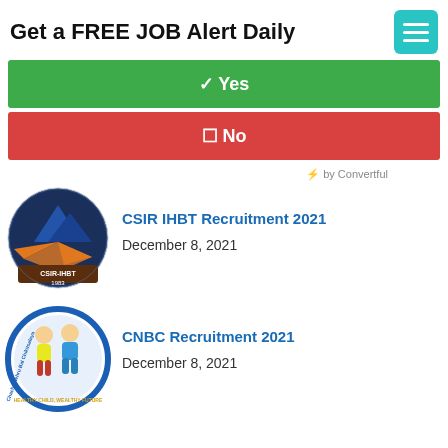Get a FREE JOB Alert Daily
✓ Yes
✗ No
⚡ by Convertful
CSIR IHBT Recruitment 2021
December 8, 2021
[Figure (logo): CSIR-IHBT 1983 circular logo with mountain and sunburst design]
CNBC Recruitment 2021
December 8, 2021
[Figure (logo): Chacha Nehru Bal Chikitsalaya circular logo with two children]